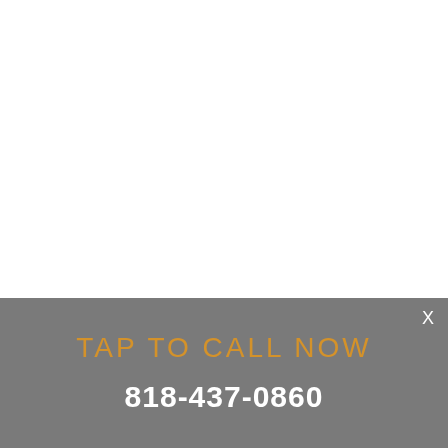X
TAP TO CALL NOW
818-437-0860